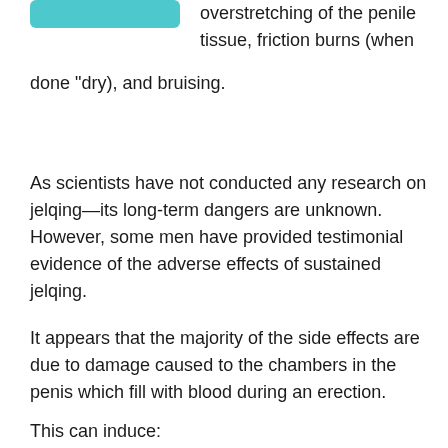[Figure (other): Teal/cyan rounded rectangle bar at top left, partial UI element]
overstretching of the penile tissue, friction burns (when done "dry), and bruising.
As scientists have not conducted any research on jelqing—its long-term dangers are unknown. However, some men have provided testimonial evidence of the adverse effects of sustained jelqing.
It appears that the majority of the side effects are due to damage caused to the chambers in the penis which fill with blood during an erection.
This can induce: